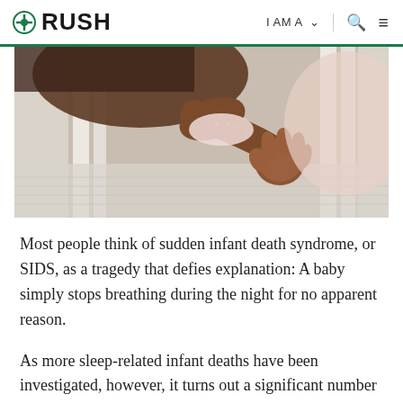RUSH  |  I AM A  |  [search]  [menu]
[Figure (photo): Close-up photograph of a baby's hand reaching through crib bars, wearing a light pink lace-trimmed outfit]
Most people think of sudden infant death syndrome, or SIDS, as a tragedy that defies explanation: A baby simply stops breathing during the night for no apparent reason.
As more sleep-related infant deaths have been investigated, however, it turns out a significant number of those deaths happened when a baby